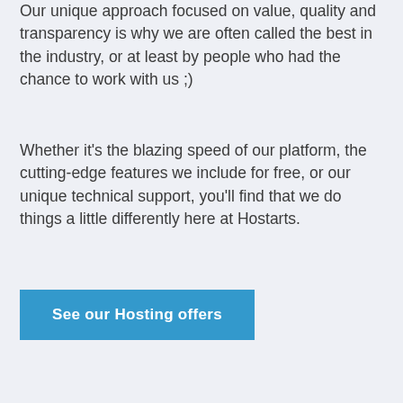Our unique approach focused on value, quality and transparency is why we are often called the best in the industry, or at least by people who had the chance to work with us ;)
Whether it's the blazing speed of our platform, the cutting-edge features we include for free, or our unique technical support, you'll find that we do things a little differently here at Hostarts.
See our Hosting offers